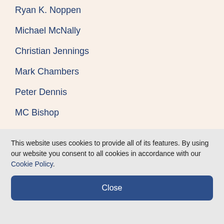Ryan K. Noppen
Michael McNally
Christian Jennings
Mark Chambers
Peter Dennis
MC Bishop
Benjamin Lai
Joseph A. McCullough
Lindsay Powell
David Smith
This website uses cookies to provide all of its features. By using our website you consent to all cookies in accordance with our Cookie Policy.
Close